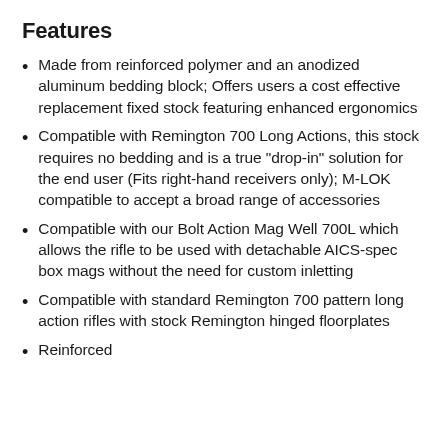Features
Made from reinforced polymer and an anodized aluminum bedding block; Offers users a cost effective replacement fixed stock featuring enhanced ergonomics
Compatible with Remington 700 Long Actions, this stock requires no bedding and is a true "drop-in" solution for the end user (Fits right-hand receivers only); M-LOK compatible to accept a broad range of accessories
Compatible with our Bolt Action Mag Well 700L which allows the rifle to be used with detachable AICS-spec box mags without the need for custom inletting
Compatible with standard Remington 700 pattern long action rifles with stock Remington hinged floorplates
Reinforced — (text cut off)